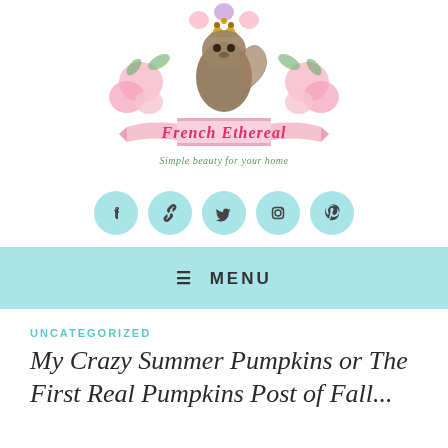[Figure (logo): French Ethereal blog logo featuring a squirrel wearing a crown surrounded by pink roses and flowers, with a pink ribbon banner reading 'French Ethereal' in pink script and subtitle 'Simple beauty for your home' in cursive green text]
[Figure (infographic): Row of five teal/turquoise circular social media icon buttons: Facebook, chain/link, Twitter, Instagram, Pinterest]
≡ MENU
UNCATEGORIZED
My Crazy Summer Pumpkins or The First Real Pumpkins Post of Fall...